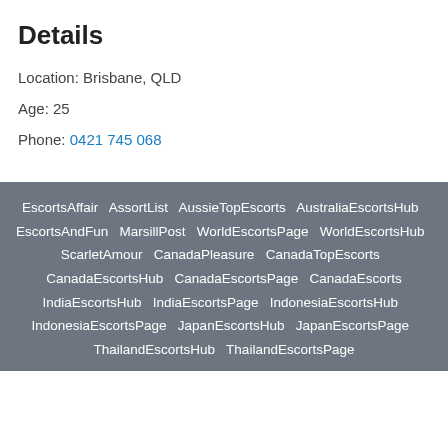Details
Location: Brisbane, QLD
Age: 25
Phone: 0421 745 068
EscortsAffair  AssortList  AussieTopEscorts  AustraliaEscortsHub  EscortsAndFun  MarsillPost  WorldEscortsPage  WorldEscortsHub  ScarletAmour  CanadaPleasure  CanadaTopEscorts  CanadaEscortsHub  CanadaEscortsPage  CanadaEscorts  IndiaEscortsHub  IndiaEscortsPage  IndonesiaEscortsHub  IndonesiaEscortsPage  JapanEscortsHub  JapanEscortsPage  ThailandEscortsHub  ThailandEscortsPage